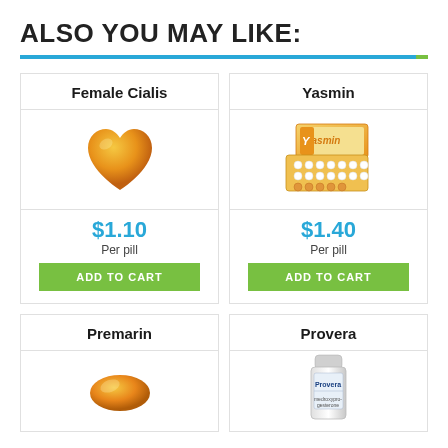ALSO YOU MAY LIKE:
[Figure (other): Decorative horizontal divider bar, blue with small green square on right]
[Figure (illustration): Female Cialis product card with orange heart-shaped pill, price $1.10 per pill, ADD TO CART button]
[Figure (illustration): Yasmin product card with oral contraceptive pill blister pack, price $1.40 per pill, ADD TO CART button]
[Figure (illustration): Premarin product card with orange oval pill, partially visible]
[Figure (illustration): Provera product card with white medicine bottle, partially visible]